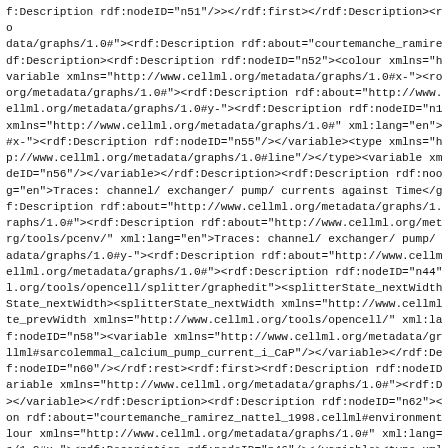f:Description rdf:nodeID="n51"/></rdf:first></rdf:Description><ro data/graphs/1.0#"><rdf:Description rdf:about="courtemanche_ramire df:Description><rdf:Description rdf:nodeID="n52"><colour xmlns="h variable xmlns="http://www.cellml.org/metadata/graphs/1.0#x-"><ro org/metadata/graphs/1.0#"><rdf:Description rdf:about="http://www. ellml.org/metadata/graphs/1.0#y-"><rdf:Description rdf:nodeID="n1 xmlns="http://www.cellml.org/metadata/graphs/1.0#" xml:lang="en"> #x-"><rdf:Description rdf:nodeID="n55"/></variable><type xmlns="h p://www.cellml.org/metadata/graphs/1.0#line"/></type><variable xm deID="n56"/></variable></rdf:Description><rdf:Description rdf:noo g="en">Traces: channel/ exchanger/ pump/ currents against Time</g f:Description rdf:about="http://www.cellml.org/metadata/graphs/1. raphs/1.0#"><rdf:Description rdf:about="http://www.cellml.org/met rg/tools/pcenv/" xml:lang="en">Traces: channel/ exchanger/ pump/ adata/graphs/1.0#y-"><rdf:Description rdf:about="http://www.cellm ellml.org/metadata/graphs/1.0#"><rdf:Description rdf:nodeID="n44" l.org/tools/opencell/splitter/graphedit"><splitterState_nextWidth State_nextWidth><splitterState_nextWidth xmlns="http://www.cellml te_prevWidth xmlns="http://www.cellml.org/tools/opencell/" xml:la f:nodeID="n58"><variable xmlns="http://www.cellml.org/metadata/gr llml#sarcolemmal_calcium_pump_current_i_CaP"/></variable></rdf:De f:nodeID="n60"/></rdf:rest><rdf:first><rdf:Description rdf:nodeID ariable xmlns="http://www.cellml.org/metadata/graphs/1.0#"><rdf:D ></variable></rdf:Description><rdf:Description rdf:nodeID="n62">< on rdf:about="courtemanche_ramirez_nattel_1998.cellml#environment lour xmlns="http://www.cellml.org/metadata/graphs/1.0#" xml:lang= s/1.0#x-"><rdf:Description rdf:nodeID="n46"/></variable><type xml ="http://www.cellml.org/metadata/graphs/1.0#line"/></type><variab df:nodeID="n63"/></variable></rdf:Description><rdf:Description r